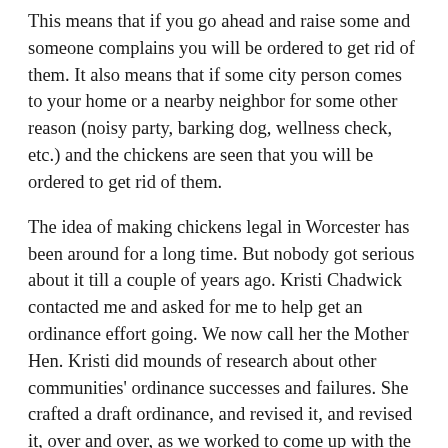This means that if you go ahead and raise some and someone complains you will be ordered to get rid of them. It also means that if some city person comes to your home or a nearby neighbor for some other reason (noisy party, barking dog, wellness check, etc.) and the chickens are seen that you will be ordered to get rid of them.
The idea of making chickens legal in Worcester has been around for a long time. But nobody got serious about it till a couple of years ago. Kristi Chadwick contacted me and asked for me to help get an ordinance effort going. We now call her the Mother Hen. Kristi did mounds of research about other communities' ordinance successes and failures. She crafted a draft ordinance, and revised it, and revised it, over and over, as we worked to come up with the best chicken ordinance ever. We wanted a Responsible Chicken Ordinance, one that could get enacted and that protected quality of life for chickens and neighbors.
For purposes of this document, if you want a chicken ordinance...